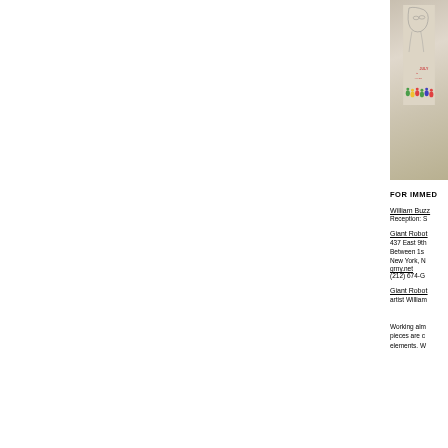[Figure (photo): Partial view of artwork/illustration showing a sketch with colored elements, text reading 'JULY' visible, with colorful small figures at bottom on a light background]
FOR IMMED
William Buzz
Reception: S
Giant Robot
437 East 9th
Between 1s
New York, N
grny.net
(212) 674-G
Giant Robot
artist William
Working alm
pieces are c
elements. W